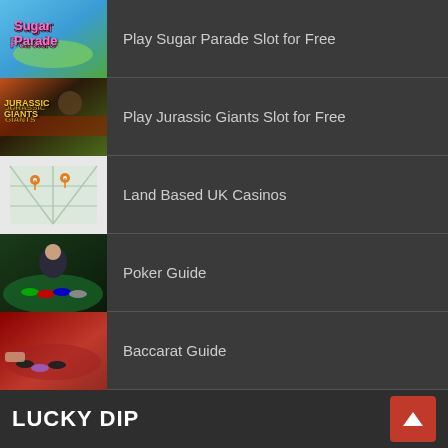Play Sugar Parade Slot for Free
Play Jurassic Giants Slot for Free
Land Based UK Casinos
Poker Guide
Baccarat Guide
LUCKY DIP